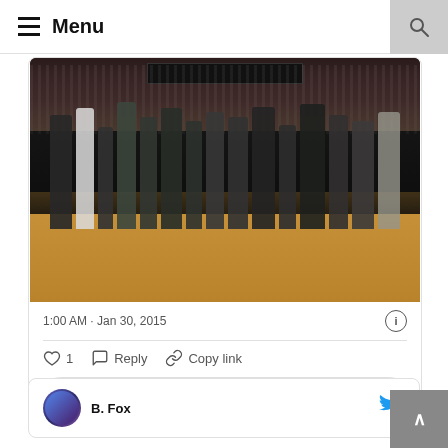Menu
[Figure (photo): Basketball arena photo showing players and staff standing on the court during what appears to be a pre-game ceremony, with a packed crowd in the background]
1:00 AM · Jan 30, 2015
♡ 1   Reply   Copy link
Explore what's happening on Twitter
B. Fox